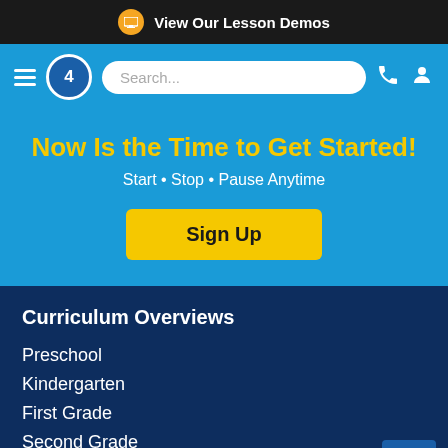View Our Lesson Demos
[Figure (screenshot): Navigation bar with hamburger menu, logo with number 4, search bar, phone icon, and user icon on blue background]
Now Is the Time to Get Started!
Start • Stop • Pause Anytime
Sign Up
Curriculum Overviews
Preschool
Kindergarten
First Grade
Second Grade
Third Grade
Fourth Grade